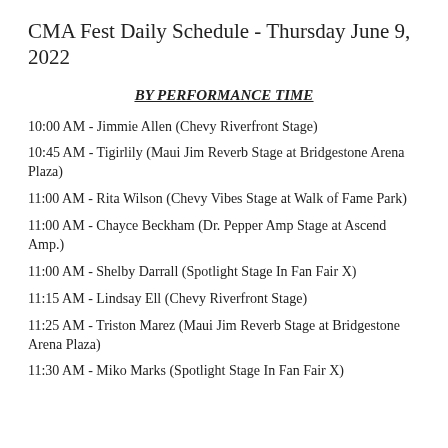CMA Fest Daily Schedule - Thursday June 9, 2022
BY PERFORMANCE TIME
10:00 AM - Jimmie Allen (Chevy Riverfront Stage)
10:45 AM - Tigirlily (Maui Jim Reverb Stage at Bridgestone Arena Plaza)
11:00 AM - Rita Wilson (Chevy Vibes Stage at Walk of Fame Park)
11:00 AM - Chayce Beckham (Dr. Pepper Amp Stage at Ascend Amp.)
11:00 AM - Shelby Darrall (Spotlight Stage In Fan Fair X)
11:15 AM - Lindsay Ell (Chevy Riverfront Stage)
11:25 AM - Triston Marez (Maui Jim Reverb Stage at Bridgestone Arena Plaza)
11:30 AM - Miko Marks (Spotlight Stage In Fan Fair X)